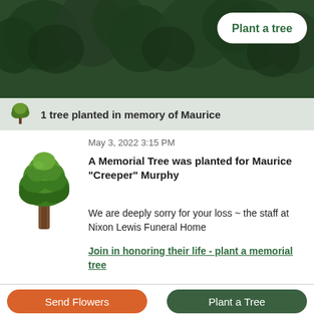[Figure (illustration): Dark green forest/tree canopy background with a white rounded button labeled 'Plant a tree' in green text]
1 tree planted in memory of Maurice
May 3, 2022 3:15 PM
A Memorial Tree was planted for Maurice "Creeper" Murphy
We are deeply sorry for your loss ~ the staff at Nixon Lewis Funeral Home
Join in honoring their life - plant a memorial tree
Send Flowers
Plant a Tree